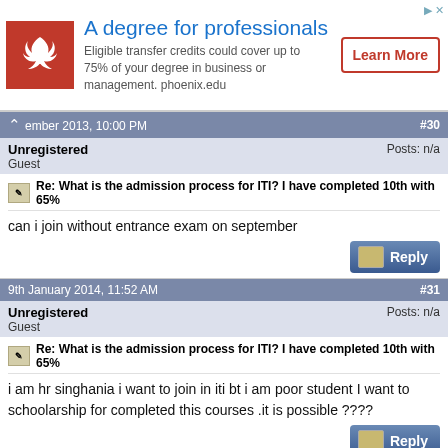[Figure (infographic): Advertisement banner: University of Phoenix logo (red with white phoenix bird), heading 'A degree for professionals', body text about eligible transfer credits, and a 'Learn More' button with red border.]
ember 2013, 10:00 PM  #30
Unregistered
Guest
Posts: n/a
Re: What is the admission process for ITI? I have completed 10th with 65%
can i join without entrance exam on september
9th January 2014, 11:52 AM  #31
Unregistered
Guest
Posts: n/a
Re: What is the admission process for ITI? I have completed 10th with 65%
i am hr singhania i want to join in iti bt i am poor student I want to schoolarship for completed this courses .it is possible ????
1st April 2014, 01:43 PM  #32